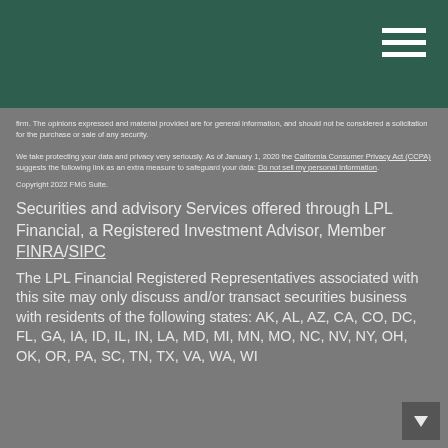firm. The opinions expressed and material provided are for general information, and should not be considered a solicitation for the purchase or sale of any security.

We take protecting your data and privacy very seriously. As of January 1, 2020 the California Consumer Privacy Act (CCPA) suggests the following link as an extra measure to safeguard your data: Do not sell my personal information.
Copyright 2022 FMG Suite.
Securities and advisory Services offered through LPL Financial, a Registered Investment Advisor, Member FINRA/SIPC
The LPL Financial Registered Representatives associated with this site may only discuss and/or transact securities business with residents of the following states: AK, AL, AZ, CA, CO, DC, FL, GA, IA, ID, IL, IN, LA, MD, MI, MN, MO, NC, NV, NY, OH, OK, OR, PA, SC, TN, TX, VA, WA, WI